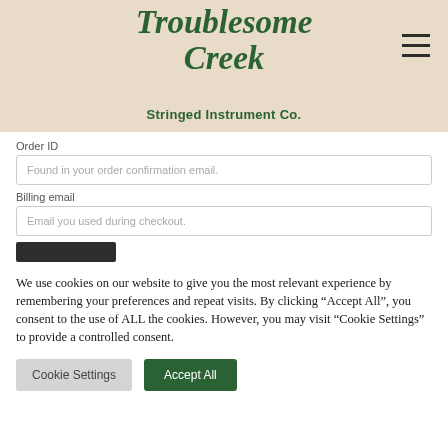[Figure (logo): Troublesome Creek Stringed Instrument Co. logo with decorative script text in dark green on beige background]
Order ID
Found in your order confirmation email.
Billing email
Email you used during checkout.
We use cookies on our website to give you the most relevant experience by remembering your preferences and repeat visits. By clicking “Accept All”, you consent to the use of ALL the cookies. However, you may visit “Cookie Settings” to provide a controlled consent.
Cookie Settings
Accept All